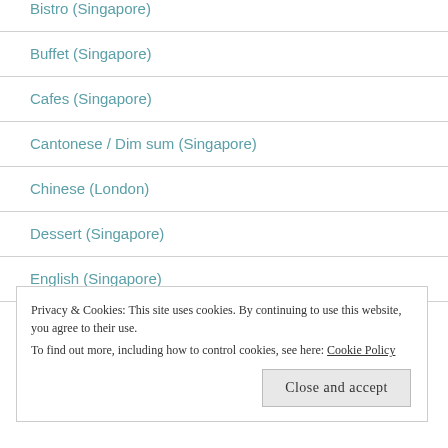Bistro (Singapore)
Buffet (Singapore)
Cafes (Singapore)
Cantonese / Dim sum (Singapore)
Chinese (London)
Dessert (Singapore)
English (Singapore)
Privacy & Cookies: This site uses cookies. By continuing to use this website, you agree to their use. To find out more, including how to control cookies, see here: Cookie Policy